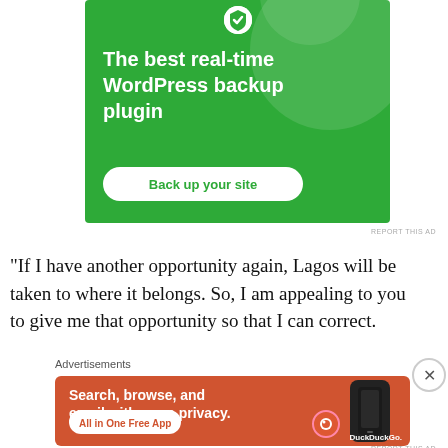[Figure (screenshot): Green advertisement banner for a WordPress backup plugin. Shows bold white text 'The best real-time WordPress backup plugin' and a white rounded button reading 'Back up your site', with circular decorative elements and a logo at the top.]
REPORT THIS AD
“If I have another opportunity again, Lagos will be taken to where it belongs. So, I am appealing to you to give me that opportunity so that I can correct.
Advertisements
[Figure (screenshot): Orange advertisement banner for DuckDuckGo app. Shows white text 'Search, browse, and email with more privacy.' with a white button 'All in One Free App' and a phone image with DuckDuckGo logo on the right.]
REPORT THIS AD